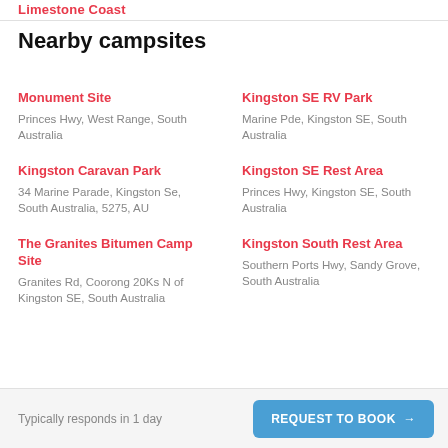Limestone Coast
Nearby campsites
Monument Site
Princes Hwy, West Range, South Australia
Kingston SE RV Park
Marine Pde, Kingston SE, South Australia
Kingston Caravan Park
34 Marine Parade, Kingston Se, South Australia, 5275, AU
Kingston SE Rest Area
Princes Hwy, Kingston SE, South Australia
The Granites Bitumen Camp Site
Granites Rd, Coorong 20Ks N of Kingston SE, South Australia
Kingston South Rest Area
Southern Ports Hwy, Sandy Grove, South Australia
Typically responds in 1 day   REQUEST TO BOOK →